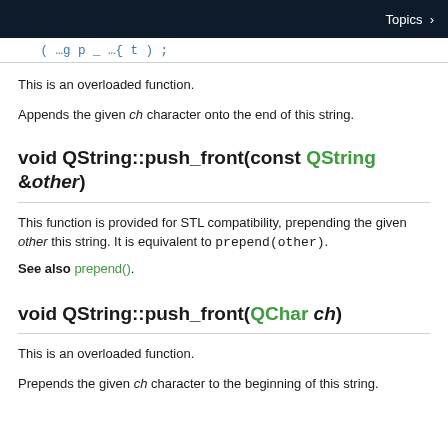Topics >
This is an overloaded function.
Appends the given ch character onto the end of this string.
void QString::push_front(const QString &other)
This function is provided for STL compatibility, prepending the given other this string. It is equivalent to prepend(other).
See also prepend().
void QString::push_front(QChar ch)
This is an overloaded function.
Prepends the given ch character to the beginning of this string.